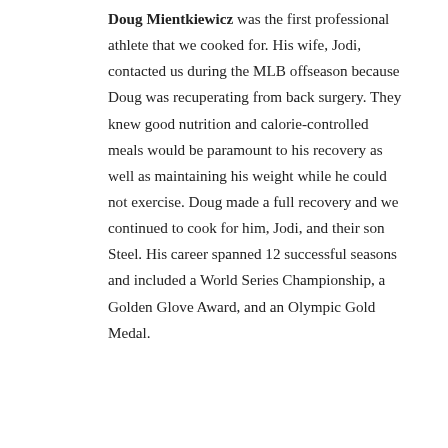Doug Mientkiewicz was the first professional athlete that we cooked for. His wife, Jodi, contacted us during the MLB offseason because Doug was recuperating from back surgery. They knew good nutrition and calorie-controlled meals would be paramount to his recovery as well as maintaining his weight while he could not exercise. Doug made a full recovery and we continued to cook for him, Jodi, and their son Steel. His career spanned 12 successful seasons and included a World Series Championship, a Golden Glove Award, and an Olympic Gold Medal.